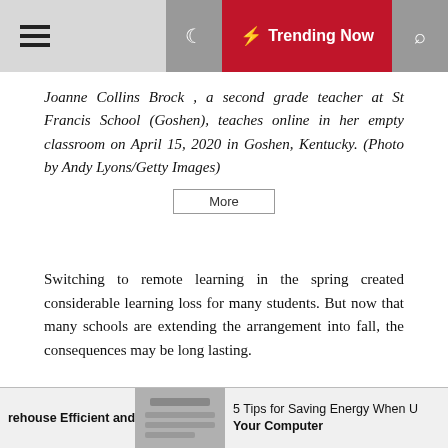Trending Now
Joanne Collins Brock , a second grade teacher at St Francis School (Goshen), teaches online in her empty classroom on April 15, 2020 in Goshen, Kentucky. (Photo by Andy Lyons/Getty Images)
Switching to remote learning in the spring created considerable learning loss for many students. But now that many schools are extending the arrangement into fall, the consequences may be long lasting.
Los Angeles and San Francisco school districts have
rehouse Efficient and   5 Tips for Saving Energy When Using Your Computer